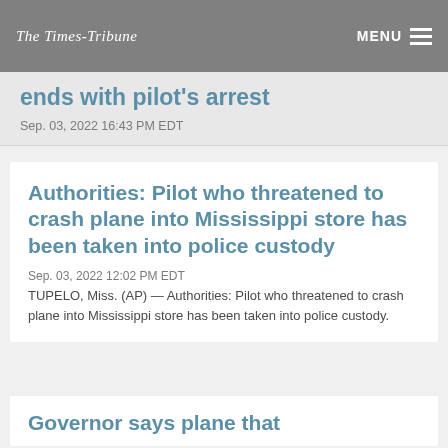The Times-Tribune
ends with pilot's arrest
Sep. 03, 2022 16:43 PM EDT
Authorities: Pilot who threatened to crash plane into Mississippi store has been taken into police custody
Sep. 03, 2022 12:02 PM EDT
TUPELO, Miss. (AP) — Authorities: Pilot who threatened to crash plane into Mississippi store has been taken into police custody.
Governor says plane that